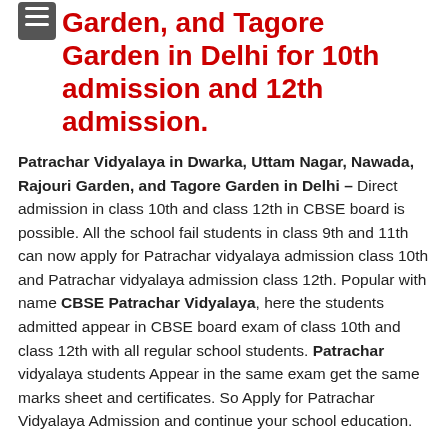Uttam Nagar, Nawada, Rajouri Garden, and Tagore Garden in Delhi for 10th admission and 12th admission.
Patrachar Vidyalaya in Dwarka, Uttam Nagar, Nawada, Rajouri Garden, and Tagore Garden in Delhi – Direct admission in class 10th and class 12th in CBSE board is possible. All the school fail students in class 9th and 11th can now apply for Patrachar vidyalaya admission class 10th and Patrachar vidyalaya admission class 12th. Popular with name CBSE Patrachar Vidyalaya, here the students admitted appear in CBSE board exam of class 10th and class 12th with all regular school students. Patrachar vidyalaya students Appear in the same exam get the same marks sheet and certificates. So Apply for Patrachar Vidyalaya Admission and continue your school education.
Open School Admission Form in Dwarka Uttam Nagar, Nawada,